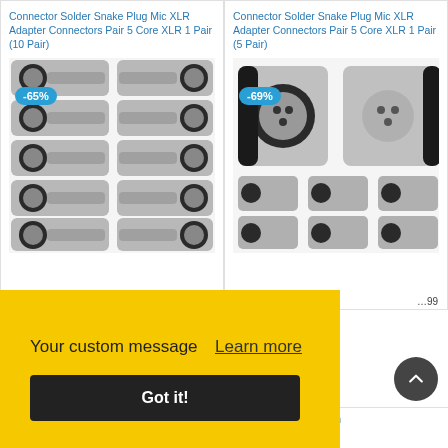Connector Solder Snake Plug Mic XLR Adapter Connectors Pair 5 Core XLR 1 Pair (10 Pair)
[Figure (photo): Grid of XLR audio connectors with -65% discount badge]
Connector Solder Snake Plug Mic XLR Adapter Connectors Pair 5 Core XLR 1 Pair (5 Pair)
[Figure (photo): XLR audio connectors with -69% discount badge]
Your custom message  Learn more
Got it!
3.5″ Compression Horn
30 Watt Amplifier Built In